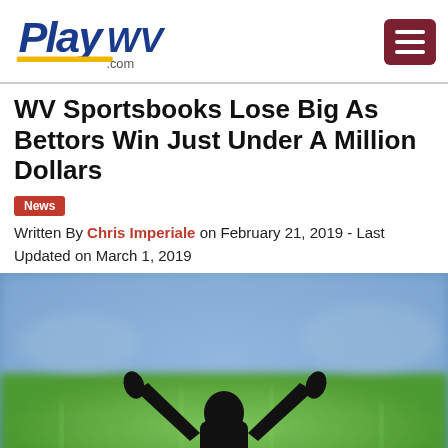PlayWV.com
WV Sportsbooks Lose Big As Bettors Win Just Under A Million Dollars
News
Written By Chris Imperiale on February 21, 2019 - Last Updated on March 1, 2019
[Figure (photo): Silhouette of a person with arms raised giving thumbs up at a sports stadium with blurred green field and crowd in background]